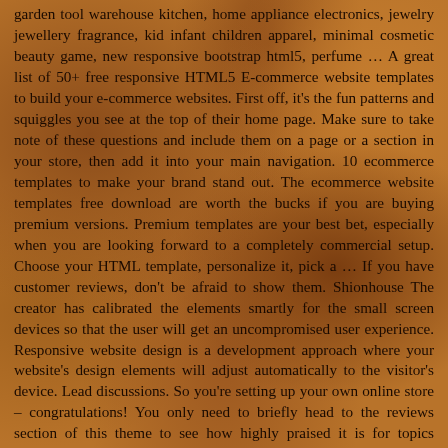garden tool warehouse kitchen, home appliance electronics, jewelry jewellery fragrance, kid infant children apparel, minimal cosmetic beauty game, new responsive bootstrap html5, perfume … A great list of 50+ free responsive HTML5 E-commerce website templates to build your e-commerce websites. First off, it's the fun patterns and squiggles you see at the top of their home page. Make sure to take note of these questions and include them on a page or a section in your store, then add it into your main navigation. 10 ecommerce templates to make your brand stand out. The ecommerce website templates free download are worth the bucks if you are buying premium versions. Premium templates are your best bet, especially when you are looking forward to a completely commercial setup. Choose your HTML template, personalize it, pick a … If you have customer reviews, don't be afraid to show them. Shionhouse The creator has calibrated the elements smartly for the small screen devices so that the user will get an uncompromised user experience. Responsive website design is a development approach where your website's design elements will adjust automatically to the visitor's device. Lead discussions. So you're setting up your own online store – congratulations! You only need to briefly head to the reviews section of this theme to see how highly praised it is for topics including customizability, design quality, and flexibility. Like most other free eCommerce website templates in this list, this one is made using the latest HTML5 and CSS3 script. MIT license – free for personal and commercial use.